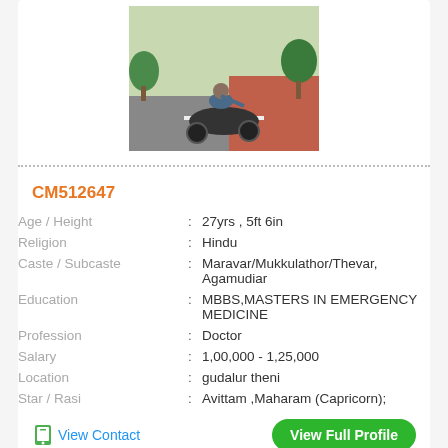[Figure (photo): Person on a motorcycle outdoors on a path with greenery]
CM512647
| Age / Height | : | 27yrs , 5ft 6in |
| Religion | : | Hindu |
| Caste / Subcaste | : | Maravar/Mukkulathor/Thevar, Agamudiar |
| Education | : | MBBS,MASTERS IN EMERGENCY MEDICINE |
| Profession | : | Doctor |
| Salary | : | 1,00,000 - 1,25,000 |
| Location | : | gudalur theni |
| Star / Rasi | : | Avittam ,Maharam (Capricorn); |
View Contact
View Full Profile
[Figure (photo): Partially visible person photo at the bottom of the page]